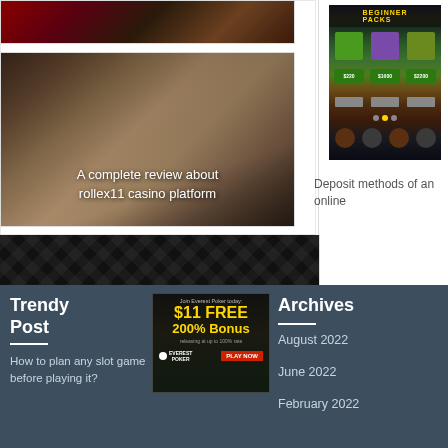[Figure (photo): Roulette wheel top portion]
[Figure (photo): Women playing slot machines at a casino]
A complete review about rollex11 casino platform
[Figure (screenshot): Mobile casino app showing Beginner Packs screen with colorful cards and bonuses]
Deposit methods of an online
Trendy Post
[Figure (illustration): Everest Poker advertisement banner: Join Everest Poker today: $11 FREE, 200% Bonus, releasing at up to 100% rate. PLAY NOW]
Archives
How to plan any slot game before playing it?
August 2022
June 2022
February 2022